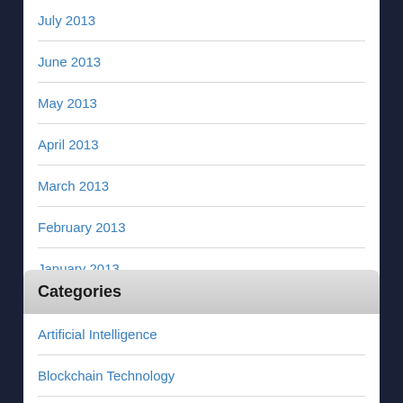July 2013
June 2013
May 2013
April 2013
March 2013
February 2013
January 2013
Categories
Artificial Intelligence
Blockchain Technology
Computer
Computer Forensic
Gadgets and Gizmos
Hacking